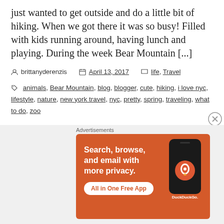just wanted to get outside and do a little bit of hiking. When we got there it was so busy! Filled with kids running around, having lunch and playing. During the week Bear Mountain [...]
brittanyderenzis   April 13, 2017   life, Travel
animals, Bear Mountain, blog, blogger, cute, hiking, i love nyc, lifestyle, nature, new york travel, nyc, pretty, spring, traveling, what to do, zoo
The Couple Bean
[Figure (screenshot): DuckDuckGo advertisement banner: orange background with text 'Search, browse, and email with more privacy. All in One Free App' and a phone mockup with DuckDuckGo logo]